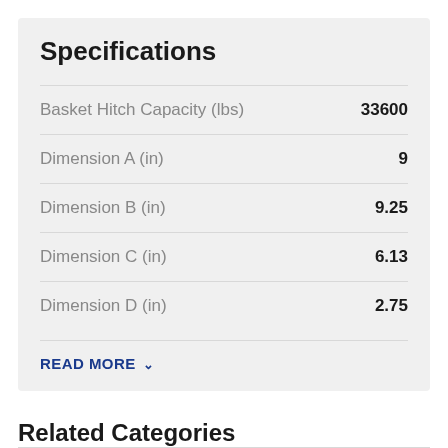Specifications
| Specification | Value |
| --- | --- |
| Basket Hitch Capacity (lbs) | 33600 |
| Dimension A (in) | 9 |
| Dimension B (in) | 9.25 |
| Dimension C (in) | 6.13 |
| Dimension D (in) | 2.75 |
READ MORE ∨
Related Categories